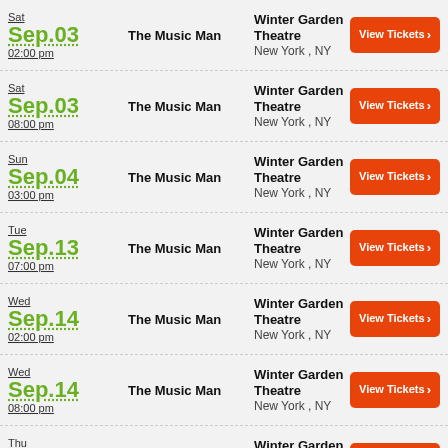Sat Sep.03 02:00 pm | The Music Man | Winter Garden Theatre, New York, NY | View Tickets
Sat Sep.03 08:00 pm | The Music Man | Winter Garden Theatre, New York, NY | View Tickets
Sun Sep.04 03:00 pm | The Music Man | Winter Garden Theatre, New York, NY | View Tickets
Tue Sep.13 07:00 pm | The Music Man | Winter Garden Theatre, New York, NY | View Tickets
Wed Sep.14 02:00 pm | The Music Man | Winter Garden Theatre, New York, NY | View Tickets
Wed Sep.14 08:00 pm | The Music Man | Winter Garden Theatre, New York, NY | View Tickets
Thu Sep.15 07:00 pm | The Music Man | Winter Garden Theatre, New York, NY | View Tickets